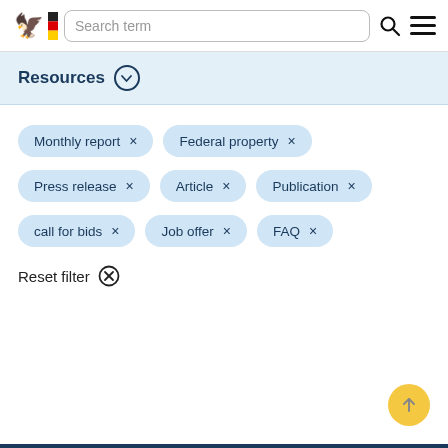Search term
Resources
Monthly report ×
Federal property ×
Press release ×
Article ×
Publication ×
call for bids ×
Job offer ×
FAQ ×
Reset filter ⊗